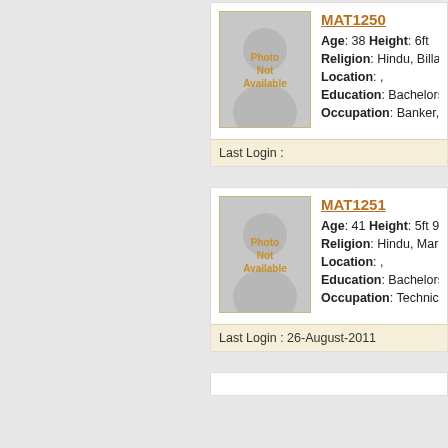MAT1250
Age: 38 Height: 6ft
Religion: Hindu, Billava, p
Location: ,
Education: Bachelors, Sci
Occupation: Banker, Priva
Last Login :
MAT1251
Age: 41 Height: 5ft 9in
Religion: Hindu, Maratha,
Location: ,
Education: Bachelors, Arts
Occupation: Technician, B
Last Login : 26-August-2011